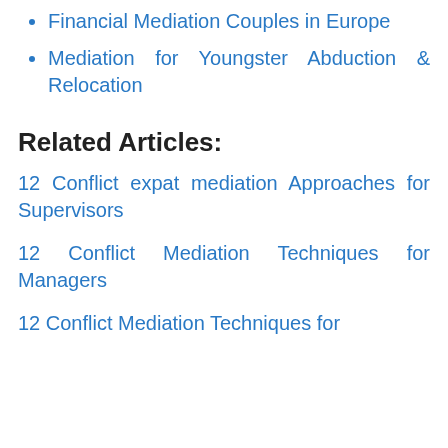Financial Mediation Couples in Europe
Mediation for Youngster Abduction & Relocation
Related Articles:
12 Conflict expat mediation Approaches for Supervisors
12 Conflict Mediation Techniques for Managers
12 Conflict Mediation Techniques for